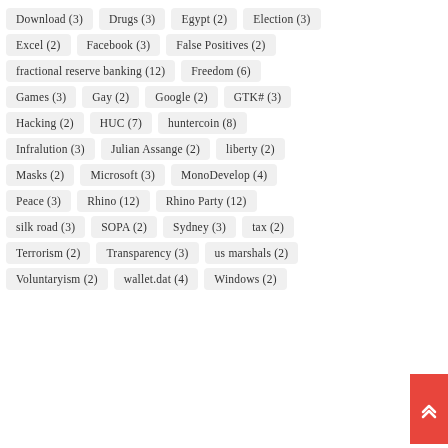Download (3)
Drugs (3)
Egypt (2)
Election (3)
Excel (2)
Facebook (3)
False Positives (2)
fractional reserve banking (12)
Freedom (6)
Games (3)
Gay (2)
Google (2)
GTK# (3)
Hacking (2)
HUC (7)
huntercoin (8)
Infralution (3)
Julian Assange (2)
liberty (2)
Masks (2)
Microsoft (3)
MonoDevelop (4)
Peace (3)
Rhino (12)
Rhino Party (12)
silk road (3)
SOPA (2)
Sydney (3)
tax (2)
Terrorism (2)
Transparency (3)
us marshals (2)
Voluntaryism (2)
wallet.dat (4)
Windows (2)